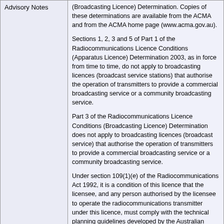|  |  |
| --- | --- |
| Advisory Notes | (Broadcasting Licence) Determination. Copies of these determinations are available from the ACMA and from the ACMA home page (www.acma.gov.au).

Sections 1, 2, 3 and 5 of Part 1 of the Radiocommunications Licence Conditions (Apparatus Licence) Determination 2003, as in force from time to time, do not apply to broadcasting licences (broadcast service stations) that authorise the operation of transmitters to provide a commercial broadcasting service or a community broadcasting service.

Part 3 of the Radiocommunications Licence Conditions (Broadcasting Licence) Determination does not apply to broadcasting licences (broadcast service) that authorise the operation of transmitters to provide a commercial broadcasting service or a community broadcasting service.

Under section 109(1)(e) of the Radiocommunications Act 1992, it is a condition of this licence that the licensee, and any person authorised by the licensee to operate the radiocommunications transmitter under this licence, must comply with the technical planning guidelines developed by the Australian Communications and Media Authority under section 33 of the Broadcasting Services Act 1992. |
|  | The licensee is subject to section 4 of part 1, and parts 2, 3 and 4 of the Radiocommunications Licence Conditions (Apparatus Licence) Determination, as in |